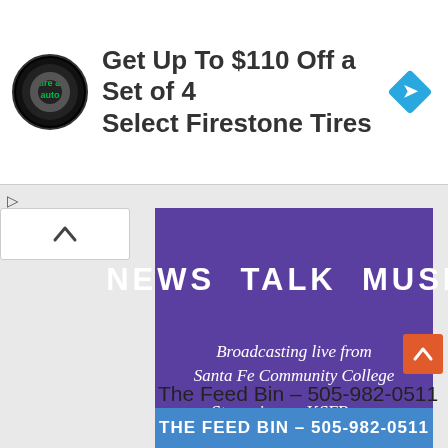[Figure (screenshot): Advertisement banner: Firestone tire and auto logo, text 'Get Up To $110 Off a Set of 4 Select Firestone Tires', blue diamond navigation icon]
[Figure (screenshot): Purple promotional box for KSFR radio: 'NEWS TALK MUSIC', 'Broadcasting live from Santa Fe Community College', 'Streaming on KSFR.org']
The Feed Bin – 505-982-0511
[Figure (screenshot): Blue bar with text: THE FEED BIN – 505-982-0511]